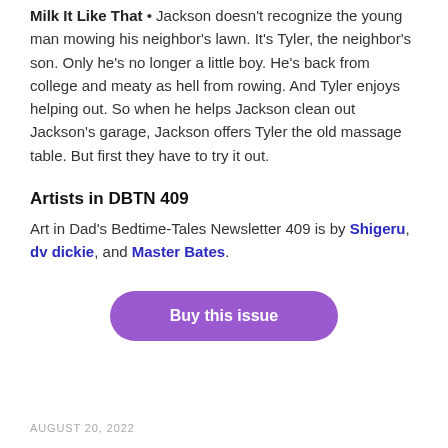Milk It Like That • Jackson doesn't recognize the young man mowing his neighbor's lawn. It's Tyler, the neighbor's son. Only he's no longer a little boy. He's back from college and meaty as hell from rowing. And Tyler enjoys helping out. So when he helps Jackson clean out Jackson's garage, Jackson offers Tyler the old massage table. But first they have to try it out.
Artists in DBTN 409
Art in Dad's Bedtime-Tales Newsletter 409 is by Shigeru, dv dickie, and Master Bates.
[Figure (other): Purple rounded button labeled 'Buy this issue']
AUGUST 20, 2022